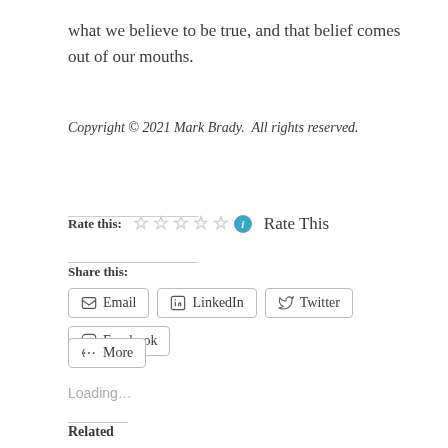what we believe to be true, and that belief comes out of our mouths.
Copyright © 2021 Mark Brady.  All rights reserved.
Rate this: ☆☆☆☆☆ ℹ Rate This
Share this:
Email | LinkedIn | Twitter | Facebook
More
Loading...
Related